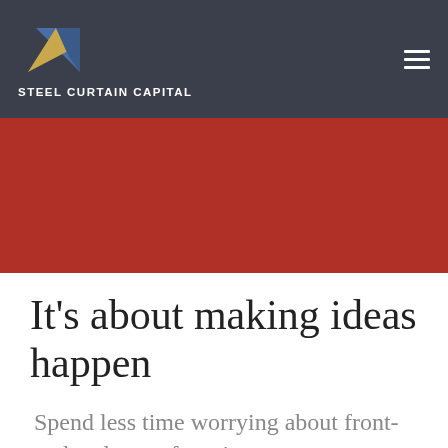STEEL CURTAIN CAPITAL
It's about making ideas happen
Spend less time worrying about front-end and more focusing on your product.